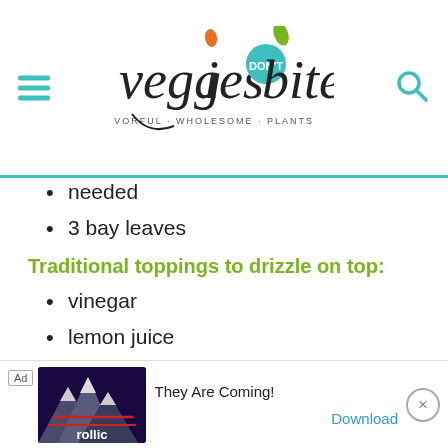veggies don't bite — SIMPLE · FLAVORFUL · WHOLESOME · PLANTS
needed
3 bay leaves
Traditional toppings to drizzle on top:
vinegar
lemon juice
hot sauce (not traditional but I love it)
fresh parsley
[Figure (other): Ad banner for Rollic game — They Are Coming! with Download link]